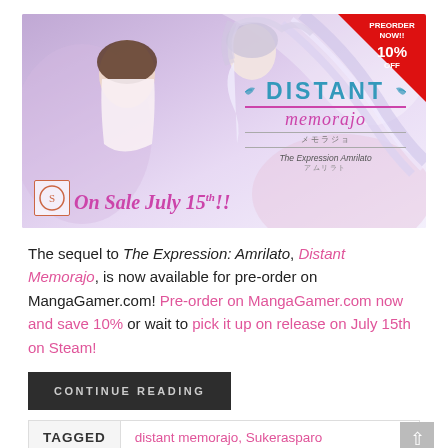[Figure (illustration): Anime-style banner image for 'Distant Memorajo', a visual novel. Two anime girls in white dresses on a purple/lavender background. Logo text reads 'DISTANT memorajo' with subtitle 'The Expression Amrilato'. Red corner badge reads 'PREORDER NOW!! 10% OFF'. Bottom left: pink italic text 'On Sale July 15th!!' with publisher logo.]
The sequel to The Expression: Amrilato, Distant Memorajo, is now available for pre-order on MangaGamer.com! Pre-order on MangaGamer.com now and save 10% or wait to pick it up on release on July 15th on Steam!
CONTINUE READING
| TAGGED |  |
| --- | --- |
|  | distant memorajo, Sukerasparo |